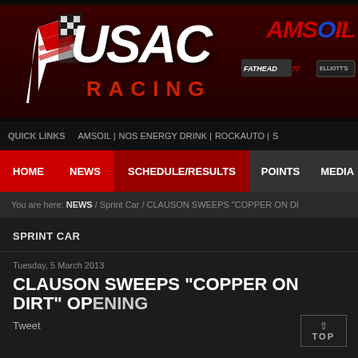[Figure (logo): USAC Racing website header banner with USAC Racing logo (white and red text with racing flag graphic) on dark red/maroon background, with AMSOIL sponsor logo and other sponsor logos (Fathead, Elliott's) on the right side]
QUICK LINKS   AMSOIL |   NOS ENERGY DRINK |   ROCKAUTO |   S...
HOME   NEWS   SCHEDULE/RESULTS   POINTS   MEDIA
You are here: NEWS / Sprint Car / CLAUSON SWEEPS "COPPER ON DI...
SPRINT CAR
Tuesday, 5 March 2013
CLAUSON SWEEPS "COPPER ON DIRT" OPENING
Tweet